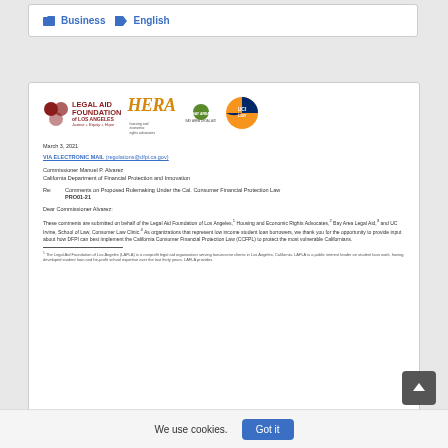Business  English
[Figure (logo): Legal Aid Foundation of Los Angeles, HERA (housing and economic rights advocates), Bay Area Legal Aid, UCI Law logos]
March 3, 2021
VIA ELECTRONIC MAIL (regulations@dfpi.ca.gov)
Commissioner Manuel P. Alvarez
California Department of Financial Protection and Innovation
Re:   Comments on Proposed Rulemaking Under the Cal. Consumer Financial Protection Law PRO01-21
Dear Commissioner Alvarez:
These comments are submitted on behalf of the Legal Aid Foundation of Los Angeles,¹ Housing and Economic Rights Advocates,² Bay Area Legal Aid,³ and UC Irvine, School of Law, Consumer Law Clinic.⁴ As organizations that represent low income student loan borrowers, we thank you for the opportunity to provide input about how DFPI can best implement the California Consumer Financial Protection Law (CCFPL) to protect the most vulnerable Californians.
¹ The Legal Aid Foundation of Los Angeles (LAFLA) is a nonprofit legal aid organization serving low-income clients in Los Angeles, California. LAFLA is a public interest leader on student loan work, having developed student loan and for-profit school expertise over the last thirty years. LAFLA provides...